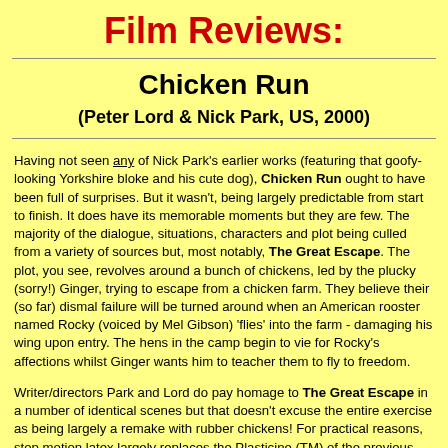Film Reviews:
Chicken Run
(Peter Lord & Nick Park, US, 2000)
Having not seen any of Nick Park's earlier works (featuring that goofy-looking Yorkshire bloke and his cute dog), Chicken Run ought to have been full of surprises. But it wasn't, being largely predictable from start to finish. It does have its memorable moments but they are few. The majority of the dialogue, situations, characters and plot being culled from a variety of sources but, most notably, The Great Escape. The plot, you see, revolves around a bunch of chickens, led by the plucky (sorry!) Ginger, trying to escape from a chicken farm. They believe their (so far) dismal failure will be turned around when an American rooster named Rocky (voiced by Mel Gibson) 'flies' into the farm - damaging his wing upon entry. The hens in the camp begin to vie for Rocky's affections whilst Ginger wants him to teacher them to fly to freedom.
Writer/directors Park and Lord do pay homage to The Great Escape in a number of identical scenes but that doesn't excuse the entire exercise as being largely a remake with rubber chickens! For practical reasons, stop motion latex largely replaces the Plasticine (TM) of the previous films, the